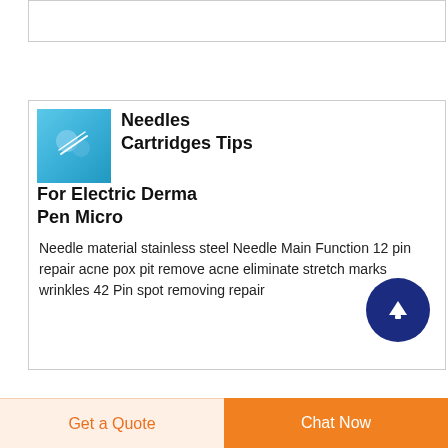[Figure (screenshot): Partial product card at the top, partially cropped]
Needles Cartridges Tips For Electric Derma Pen Micro
Needle material stainless steel Needle Main Function 12 pin repair acne pox pit remove acne eliminate stretch marks wrinkles 42 Pin spot removing repair
[Figure (screenshot): Partially visible product card at bottom showing needle/star icon and title beginning with 'Needle ThreadDresses']
Get a Quote
Chat Now